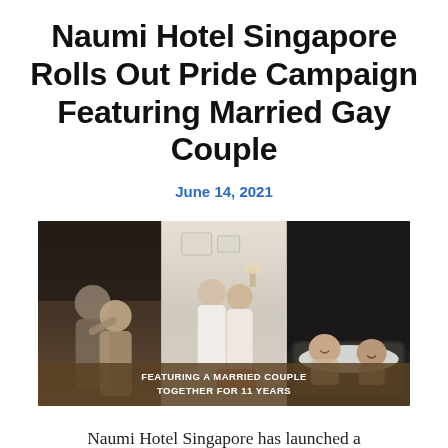Naumi Hotel Singapore Rolls Out Pride Campaign Featuring Married Gay Couple
June 14, 2021
[Figure (photo): Three-panel photo collage showing a married gay couple in hotel bathrobes in various hotel settings. Overlay text reads: FEATURING A MARRIED COUPLE TOGETHER FOR 11 YEARS]
Naumi Hotel Singapore has launched a Pride Month campaign featuring married